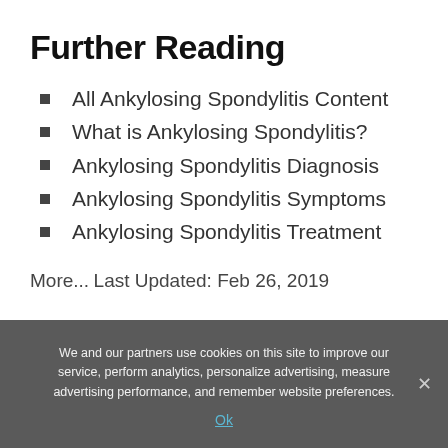Further Reading
All Ankylosing Spondylitis Content
What is Ankylosing Spondylitis?
Ankylosing Spondylitis Diagnosis
Ankylosing Spondylitis Symptoms
Ankylosing Spondylitis Treatment
More...
Last Updated: Feb 26, 2019
We and our partners use cookies on this site to improve our service, perform analytics, personalize advertising, measure advertising performance, and remember website preferences. Ok